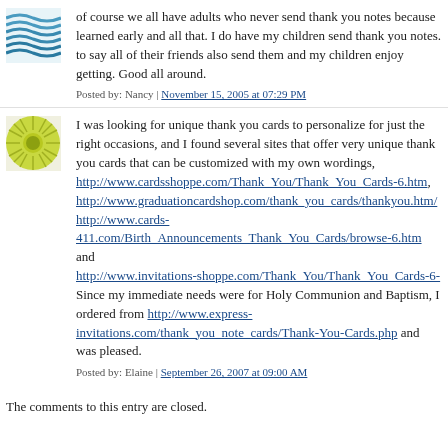[Figure (illustration): Blue wavy lines avatar icon]
learned early and all that. I do have my children send thank you notes. to say all of their friends also send them and my children enjoy getting. Good all around.
Posted by: Nancy | November 15, 2005 at 07:29 PM
[Figure (illustration): Green sunburst/sun avatar icon]
I was looking for unique thank you cards to personalize for just the right occasions, and I found several sites that offer very unique thank you cards that can be customized with my own wordings, http://www.cardsshoppe.com/Thank_You/Thank_You_Cards-6.htm, http://www.graduationcardshop.com/thank_you_cards/thankyou.htm/ http://www.cards-411.com/Birth_Announcements_Thank_You_Cards/browse-6.htm and http://www.invitations-shoppe.com/Thank_You/Thank_You_Cards-6- Since my immediate needs were for Holy Communion and Baptism, I ordered from http://www.express-invitations.com/thank_you_note_cards/Thank-You-Cards.php and was pleased.
Posted by: Elaine | September 26, 2007 at 09:00 AM
The comments to this entry are closed.